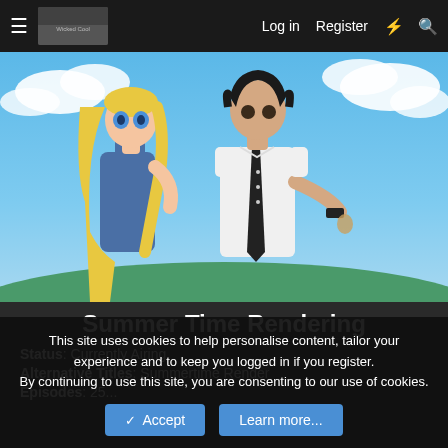≡  [logo]  Log in  Register  ⚡  🔍
[Figure (illustration): Anime key visual for Summer Time Rendering showing two characters: a blonde girl in a blue swimsuit and a dark-haired boy in a white shirt with black tie, set against a blue sky with clouds]
Summer Time Rendering
Status: Currently Airing
Alternative Titles: Summertime Render
Episodes: 25...
This site uses cookies to help personalise content, tailor your experience and to keep you logged in if you register.
By continuing to use this site, you are consenting to our use of cookies.
✓ Accept   Learn more...